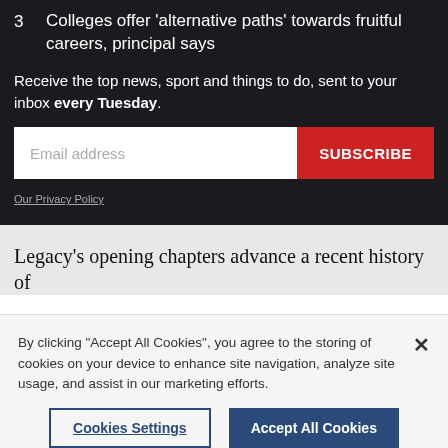3 Colleges offer 'alternative paths' towards fruitful careers, principal says
Receive the top news, sport and things to do, sent to your inbox every Tuesday.
Email address [input] SUBSCRIBE
Our Privacy Policy
Legacy's opening chapters advance a recent history of
By clicking "Accept All Cookies", you agree to the storing of cookies on your device to enhance site navigation, analyze site usage, and assist in our marketing efforts.
Cookies Settings | Accept All Cookies